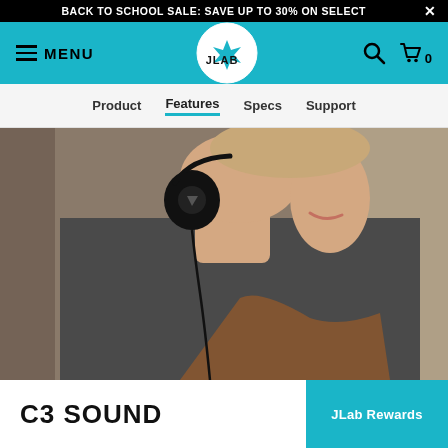BACK TO SCHOOL SALE: SAVE UP TO 30% ON SELECT ×
[Figure (screenshot): JLab navigation bar with hamburger menu icon, MENU label, JLab logo in circle, search icon, and shopping bag icon with 0 count, on teal/cyan background]
Product  Features  Specs  Support
[Figure (photo): Close-up photo of a young person wearing JLab on-ear headphones with wire, wearing a dark grey t-shirt, brick wall in background]
C3 SOUND
JLab Rewards